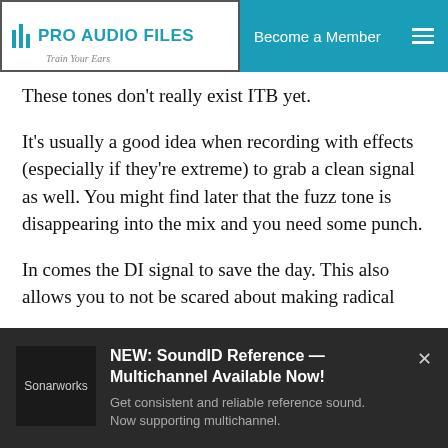PRO AUDIO FILES | Become a Member
These tones don't really exist ITB yet.
It's usually a good idea when recording with effects (especially if they're extreme) to grab a clean signal as well. You might find later that the fuzz tone is disappearing into the mix and you need some punch.
In comes the DI signal to save the day. This also allows you to not be scared about making radical
[Figure (other): Advertisement banner for Sonarworks SoundID Reference Multichannel. Dark background with Sonarworks logo on left. Text reads: 'NEW: SoundID Reference — Multichannel Available Now! Get consistent and reliable reference sound. Now supporting multichannel.']